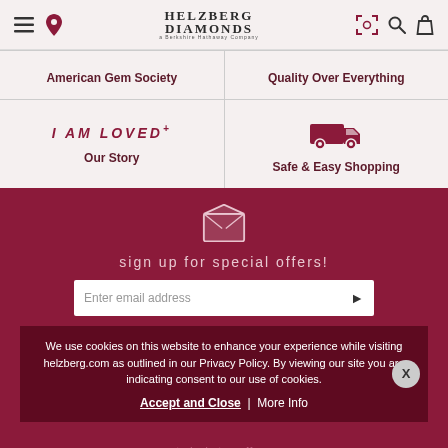Helzberg Diamonds navigation bar with menu, location, logo, camera, search, and bag icons
American Gem Society
Quality Over Everything
I AM LOVED+
Our Story
[Figure (illustration): Delivery truck icon in maroon]
Safe & Easy Shopping
[Figure (illustration): Envelope/mail icon in pink/white on dark maroon background]
sign up for special offers!
Enter email address
We use cookies on this website to enhance your experience while visiting helzberg.com as outlined in our Privacy Policy. By viewing our site you are indicating consent to our use of cookies.
Accept and Close | More Info
©Helzberg   today's top offers   Community